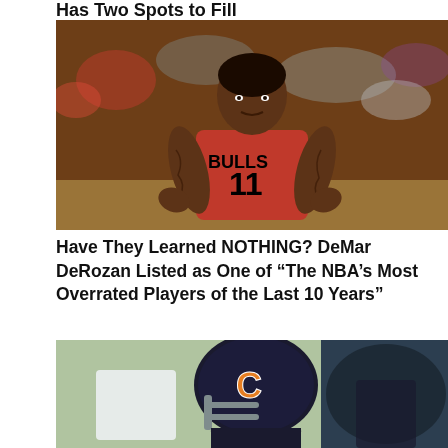Has Two Spots to Fill
[Figure (photo): DeMar DeRozan in Chicago Bulls #11 red jersey gesturing with both hands on a basketball court]
Have They Learned NOTHING? DeMar DeRozan Listed as One of “The NBA’s Most Overrated Players of the Last 10 Years”
[Figure (photo): Chicago Bears football player in dark helmet with orange C logo in action during a game]